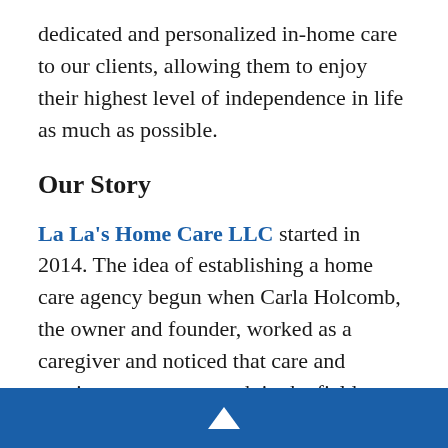dedicated and personalized in-home care to our clients, allowing them to enjoy their highest level of independence in life as much as possible.
Our Story
La La's Home Care LLC started in 2014. The idea of establishing a home care agency begun when Carla Holcomb, the owner and founder, worked as a caregiver and noticed that care and passion were not enough in the field. Hence, she decided to open her
▲